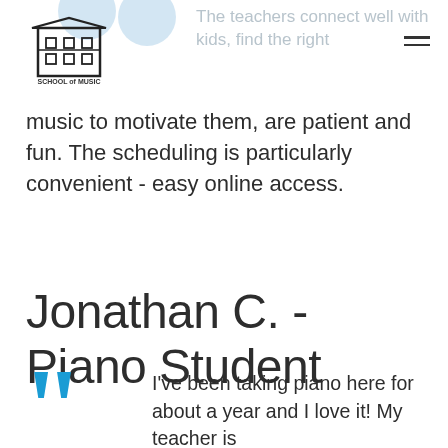Off The Wall School of Music
The teachers connect well with kids, find the right music to motivate them, are patient and fun. The scheduling is particularly convenient - easy online access.
Jonathan C. - Piano Student
I've been taking piano here for about a year and I love it! My teacher is